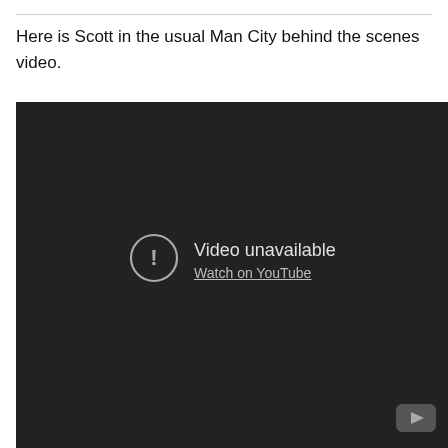Here is Scott in the usual Man City behind the scenes video.
[Figure (screenshot): Embedded YouTube video player showing 'Video unavailable' error message with a 'Watch on YouTube' link. The video player has a dark background with the error icon and text centered, and the YouTube logo in the bottom right corner.]